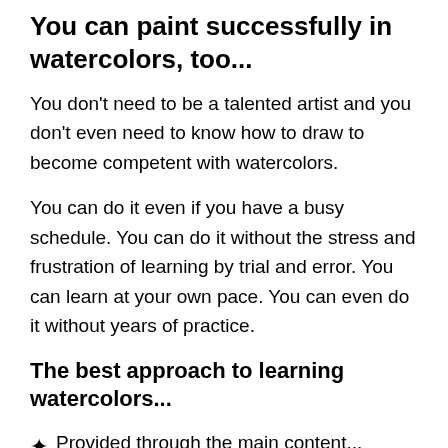You can paint successfully in watercolors, too...
You don't need to be a talented artist and you don't even need to know how to draw to become competent with watercolors.
You can do it even if you have a busy schedule. You can do it without the stress and frustration of learning by trial and error. You can learn at your own pace. You can even do it without years of practice.
The best approach to learning watercolors...
Provided through the main content...